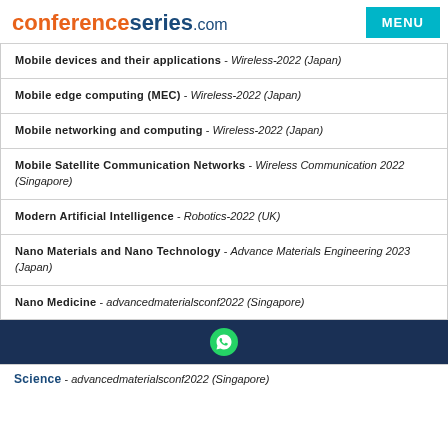conferenceseries.com
Mobile devices and their applications - Wireless-2022 (Japan)
Mobile edge computing (MEC) - Wireless-2022 (Japan)
Mobile networking and computing - Wireless-2022 (Japan)
Mobile Satellite Communication Networks - Wireless Communication 2022 (Singapore)
Modern Artificial Intelligence - Robotics-2022 (UK)
Nano Materials and Nano Technology - Advance Materials Engineering 2023 (Japan)
Nano Medicine - advancedmaterialsconf2022 (Singapore)
Science - advancedmaterialsconf2022 (Singapore)